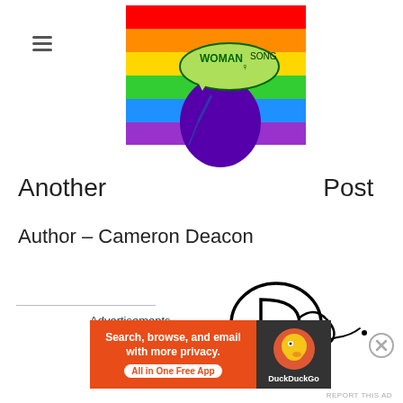[Figure (logo): Rainbow pride flag background with a silhouette of a person singing into a microphone, speech bubble saying 'WOMAN SONG']
Another Post
Author – Cameron Deacon
[Figure (illustration): Handwritten signature/autograph in black ink]
Advertisements
[Figure (screenshot): DuckDuckGo advertisement banner: 'Search, browse, and email with more privacy. All in One Free App' with DuckDuckGo logo on dark background]